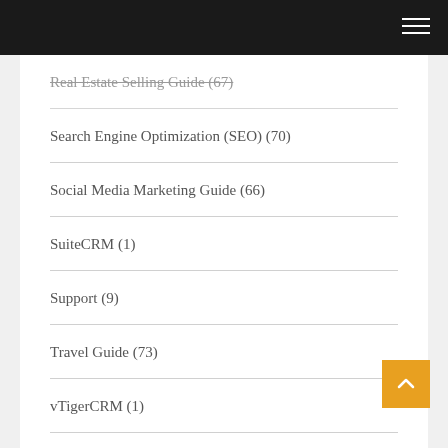Real Estate Selling Guide (67)
Search Engine Optimization (SEO) (70)
Social Media Marketing Guide (66)
SuiteCRM (1)
Support (9)
Travel Guide (73)
vTigerCRM (1)
Web Design (67)
Weight Loss Guide (72)